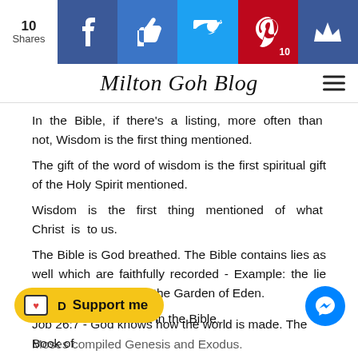10 Shares | Milton Goh Blog
In the Bible, if there’s a listing, more often than not, Wisdom is the first thing mentioned.
The gift of the word of wisdom is the first spiritual gift of the Holy Spirit mentioned.
Wisdom is the first thing mentioned of what Christ is to us.
The Bible is God breathed. The Bible contains lies as well which are faithfully recorded - Example: the lie that Satan told Eve in the Garden of Eden.
Job is the oldest book in the Bible.
Moses compiled Genesis and Exodus.
Job 26:7 - God knows how the world is made. The Book of